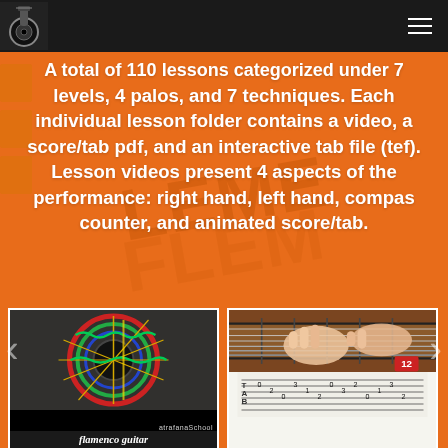Navigation bar with logo and menu icon
A total of 110 lessons categorized under 7 levels, 4 palos, and 7 techniques. Each individual lesson folder contains a video, a score/tab pdf, and an interactive tab file (tef). Lesson videos present 4 aspects of the performance: right hand, left hand, compas counter, and animated score/tab.
[Figure (photo): Guitar rosette/soundhole diagram with colorful overlaid lines showing string and fret positions, labeled 'flamenco guitar' with atrafanaSchool branding]
[Figure (photo): Close-up of hands playing flamenco guitar with a musical tablature/score visible below, red badge showing number 12]